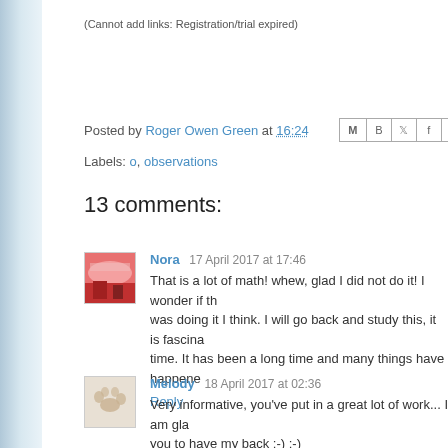(Cannot add links: Registration/trial expired)
Posted by Roger Owen Green at 16:24
Labels: o, observations
13 comments:
Nora  17 April 2017 at 17:46
That is a lot of math! whew, glad I did not do it! I wonder if th... was doing it I think. I will go back and study this, it is fascina... time. It has been a long time and many things have happene...
Reply
Melody  18 April 2017 at 02:36
Very informative, you've put in a great lot of work... I am gla... you to have my back ;-) ;-)